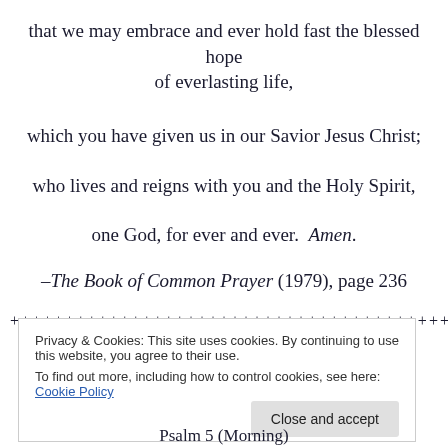that we may embrace and ever hold fast the blessed hope of everlasting life,
which you have given us in our Savior Jesus Christ;
who lives and reigns with you and the Holy Spirit,
one God, for ever and ever.  Amen.
–The Book of Common Prayer (1979), page 236
+++++++++++++++++++++++++++++++++++++++++++++++++
Privacy & Cookies: This site uses cookies. By continuing to use this website, you agree to their use.
To find out more, including how to control cookies, see here: Cookie Policy
Psalm 5 (Morning)